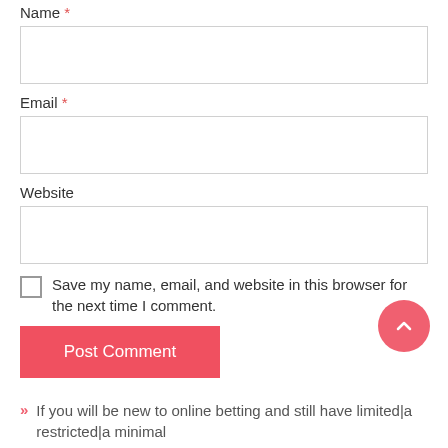Name *
[Figure (other): Text input field for Name]
Email *
[Figure (other): Text input field for Email]
Website
[Figure (other): Text input field for Website]
Save my name, email, and website in this browser for the next time I comment.
[Figure (other): Post Comment button (red/coral)]
[Figure (other): Scroll to top circular button (coral)]
If you will be new to online betting and still have limited|a restricted|a minimal
Contraceptive Pill Types Explained